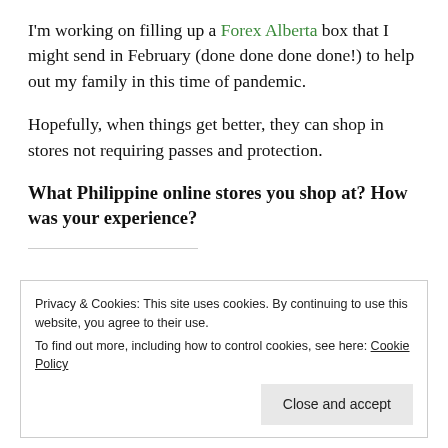I'm working on filling up a Forex Alberta box that I might send in February (done done done done!) to help out my family in this time of pandemic.
Hopefully, when things get better, they can shop in stores not requiring passes and protection.
What Philippine online stores you shop at? How was your experience?
Privacy & Cookies: This site uses cookies. By continuing to use this website, you agree to their use. To find out more, including how to control cookies, see here: Cookie Policy
Close and accept